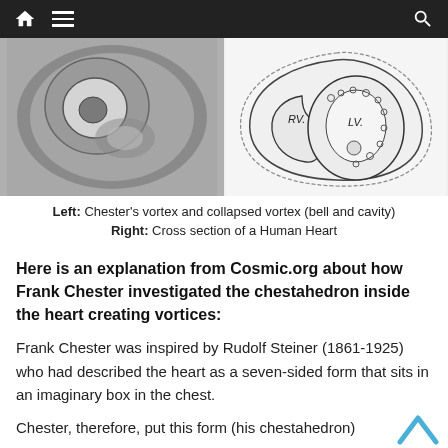Navigation bar with home, menu, and search icons
[Figure (photo): Left half: grayscale photo of Chester's vortex and collapsed vortex (bell and cavity shape). Right half: line drawing of cross section of a Human Heart with RV and LV labels.]
Left: Chester's vortex and collapsed vortex (bell and cavity)
Right: Cross section of a Human Heart
Here is an explanation from Cosmic.org about how Frank Chester investigated the chestahedron inside the heart creating vortices:
Frank Chester was inspired by Rudolf Steiner (1861-1925) who had described the heart as a seven-sided form that sits in an imaginary box in the chest.
Chester, therefore, put this form (his chestahedron)